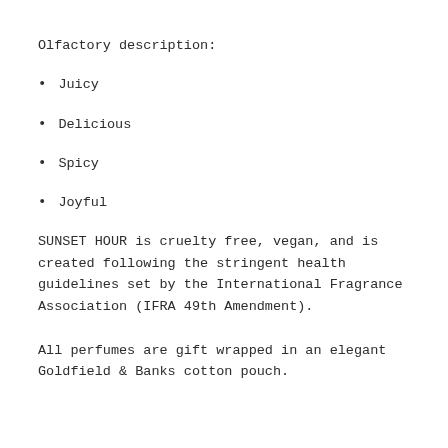Olfactory description:
Juicy
Delicious
Spicy
Joyful
SUNSET HOUR is cruelty free, vegan, and is created following the stringent health guidelines set by the International Fragrance Association (IFRA 49th Amendment).
All perfumes are gift wrapped in an elegant Goldfield & Banks cotton pouch.